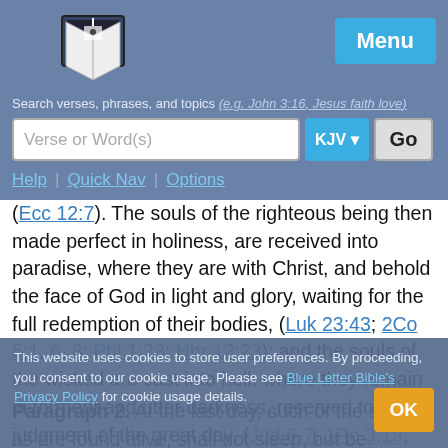Menu | Search verses, phrases, and topics (e.g. John 3:16, Jesus faith love) | Verse or Word(s) | KJV | Go | Help | Quick Nav | Options
(Ecc 12:7). The souls of the righteous being then made perfect in holiness, are received into paradise, where they are with Christ, and behold the face of God in light and glory, waiting for the full redemption of their bodies, (Luk 23:43; 2Co 5:1, 6, 8; Phl 1:23; Hbr 12:23); and the souls of the wicked are cast into hell; where they remain in torment and utter darkness, reserved to the judgment of the great day, (Jud 6-7; 1Pe 3:19; Luk 16:23-24); besides these two places, for souls separated from their bodies, the Scripture acknowledgeth none.
Paragraph 2. At the last day, such of the saints as are found alive, shall not sleep, but be changed.
This website uses cookies to store user preferences. By proceeding, you consent to our cookie usage. Please see Blue Letter Bible's Privacy Policy for cookie usage details.